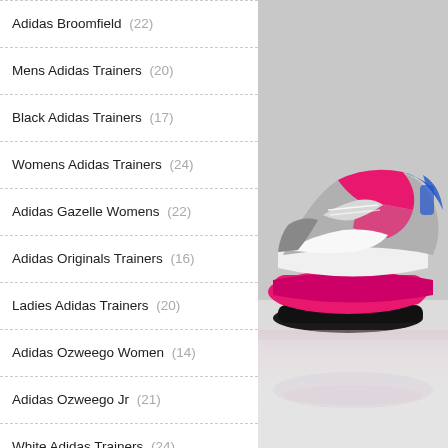Adidas Broomfield (22)
Mens Adidas Trainers (20)
Black Adidas Trainers (17)
Womens Adidas Trainers (24)
Adidas Gazelle Womens (22)
Adidas Originals Trainers (16)
Ladies Adidas Trainers (20)
Adidas Ozweego Women (14)
Adidas Ozweego Jr (21)
White Adidas Trainers (24)
Adidas White Trainers Womens (20)
Adidas Gazelles Women (21)
Adidas Shoes For Running (17)
Adidas Golf Shoes (25)
Adidas Ozweego Women'S (17)
Adidas Gazelles Women'S (22)
[Figure (photo): Close-up photo of a pink, grey, blue and white Adidas trainer/sneaker shoe from a low angle, showing the sole and upper, on a light grey/white surface.]